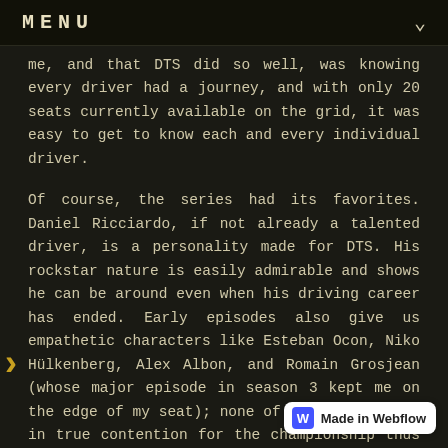MENU
me, and that DTS did so well, was knowing every driver had a journey, and with only 20 seats currently available on the grid, it was easy to get to know each and every individual driver.
Of course, the series had its favorites. Daniel Ricciardo, if not already a talented driver, is a personality made for DTS. His rockstar nature is easily admirable and shows he can be around even when his driving career has ended. Early episodes also give us empathetic characters like Esteban Ocon, Niko Hülkenberg, Alex Albon, and Romain Grosjean (whose major episode in season 3 kept me on the edge of my seat); none of which have been in true contention for the championship thus far, but that doesn't make them, nor any driver on the grid, any less deserving of it. In fact, that's what DTS does well, in getting us to focus on drivers that are